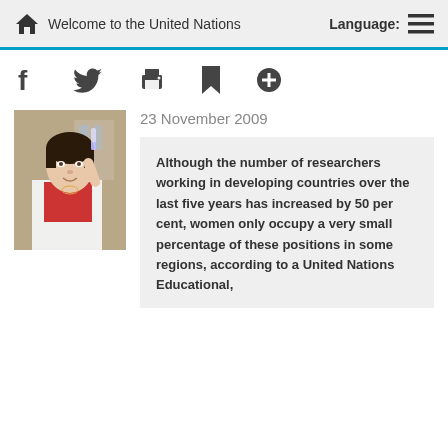Welcome to the United Nations   Language:
[Figure (illustration): Social media and action icons: Facebook (f), Twitter (bird), Print (printer), Bookmark (flag), Add (plus circle)]
[Figure (photo): A woman in a white lab coat holding a test tube in a laboratory setting]
23 November 2009
Although the number of researchers working in developing countries over the last five years has increased by 50 per cent, women only occupy a very small percentage of these positions in some regions, according to a United Nations Educational,